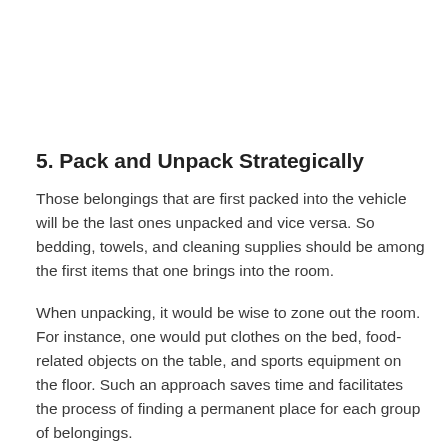5. Pack and Unpack Strategically
Those belongings that are first packed into the vehicle will be the last ones unpacked and vice versa. So bedding, towels, and cleaning supplies should be among the first items that one brings into the room.
When unpacking, it would be wise to zone out the room. For instance, one would put clothes on the bed, food-related objects on the table, and sports equipment on the floor. Such an approach saves time and facilitates the process of finding a permanent place for each group of belongings.
6. Dress Comfortably
Freshmen should wear comfort tracksuits that would